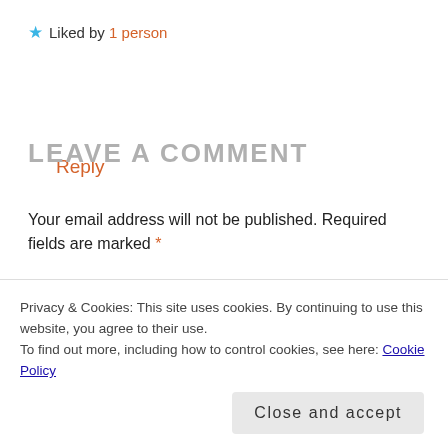★ Liked by 1 person
Reply
LEAVE A COMMENT
Your email address will not be published. Required fields are marked *
COMMENT *
Privacy & Cookies: This site uses cookies. By continuing to use this website, you agree to their use.
To find out more, including how to control cookies, see here: Cookie Policy
Close and accept